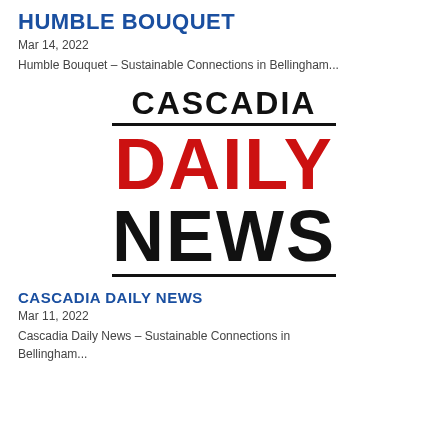HUMBLE BOUQUET
Mar 14, 2022
Humble Bouquet – Sustainable Connections in Bellingham...
[Figure (logo): Cascadia Daily News logo with CASCADIA in black, DAILY in red, NEWS in black, with horizontal rules above and below DAILY/NEWS]
CASCADIA DAILY NEWS
Mar 11, 2022
Cascadia Daily News – Sustainable Connections in Bellingham...